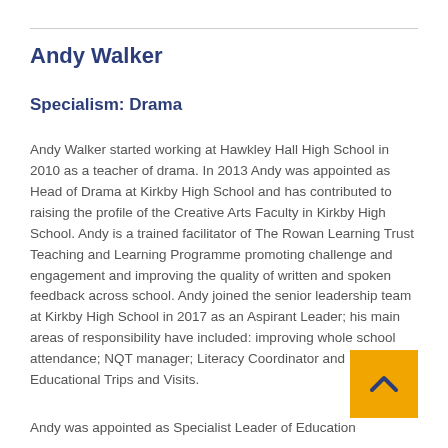Andy Walker
Specialism: Drama
Andy Walker started working at Hawkley Hall High School in 2010 as a teacher of drama. In 2013 Andy was appointed as Head of Drama at Kirkby High School and has contributed to raising the profile of the Creative Arts Faculty in Kirkby High School. Andy is a trained facilitator of The Rowan Learning Trust Teaching and Learning Programme promoting challenge and engagement and improving the quality of written and spoken feedback across school. Andy joined the senior leadership team at Kirkby High School in 2017 as an Aspirant Leader; his main areas of responsibility have included: improving whole school attendance; NQT manager; Literacy Coordinator and Educational Trips and Visits.
Andy was appointed as Specialist Leader of Education